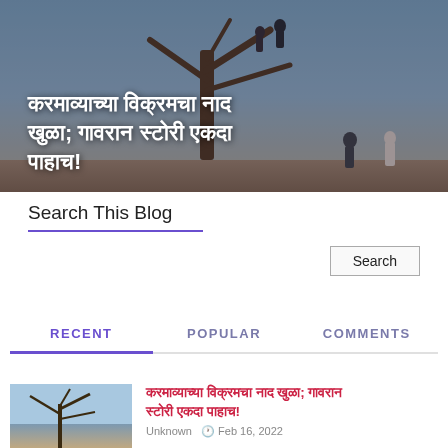[Figure (photo): Hero image showing people on a tree or rock outcrop against a blue sky, with large Marathi text overlay]
करमाव्याच्या विक्रमचा नाद खुळा; गावरान स्टोरी एकदा पाहाच!
Search This Blog
Search
RECENT	POPULAR	COMMENTS
[Figure (photo): Thumbnail image for blog post showing tree branches against sky]
करमाव्याच्या विक्रमचा नाद खुळा; गावरान स्टोरी एकदा पाहाच!
Unknown  Feb 16, 2022